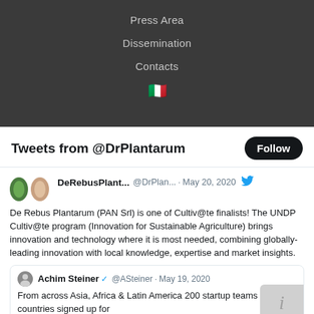Press Area
Dissemination
Contacts
[Figure (illustration): Italian flag emoji]
Tweets from @DrPlantarum
DeRebusPlant...  @DrPlan...  · May 20, 2020
De Rebus Plantarum (PAN Srl) is one of Cultiv@te finalists! The UNDP Cultiv@te program (Innovation for Sustainable Agriculture) brings innovation and technology where it is most needed, combining globally-leading innovation with local knowledge, expertise and market insights.
Achim Steiner ✓  @ASteiner · May 19, 2020
From across Asia, Africa & Latin America 200 startup teams from 50+ countries signed up for